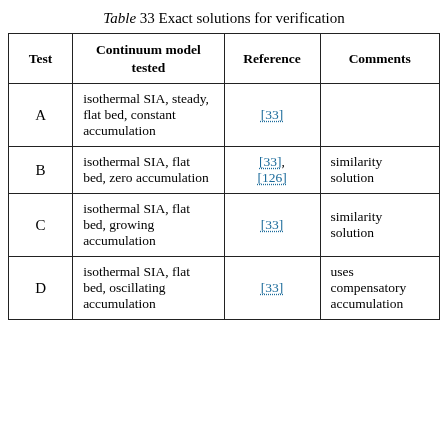Table 33 Exact solutions for verification
| Test | Continuum model tested | Reference | Comments |
| --- | --- | --- | --- |
| A | isothermal SIA, steady, flat bed, constant accumulation | [33] |  |
| B | isothermal SIA, flat bed, zero accumulation | [33], [126] | similarity solution |
| C | isothermal SIA, flat bed, growing accumulation | [33] | similarity solution |
| D | isothermal SIA, flat bed, oscillating accumulation | [33] | uses compensatory accumulation |